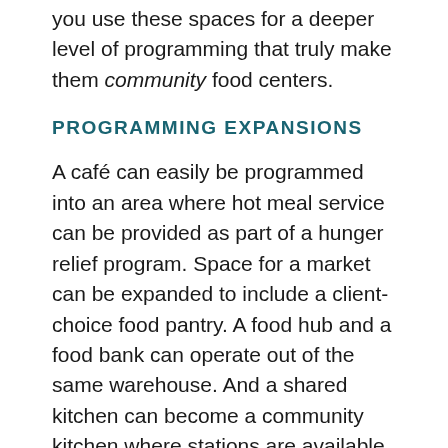you use these spaces for a deeper level of programming that truly make them community food centers.
PROGRAMMING EXPANSIONS
A café can easily be programmed into an area where hot meal service can be provided as part of a hunger relief program. Space for a market can be expanded to include a client-choice food pantry. A food hub and a food bank can operate out of the same warehouse. And a shared kitchen can become a community kitchen where stations are available to certain members of the community at no cost.
So these are all of the ways we are seeing Community Food Centers being explored in towns